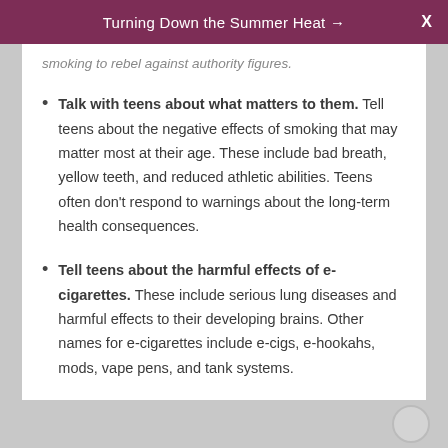Turning Down the Summer Heat →  X
smoking to rebel against authority figures.
Talk with teens about what matters to them. Tell teens about the negative effects of smoking that may matter most at their age. These include bad breath, yellow teeth, and reduced athletic abilities. Teens often don't respond to warnings about the long-term health consequences.
Tell teens about the harmful effects of e-cigarettes. These include serious lung diseases and harmful effects to their developing brains. Other names for e-cigarettes include e-cigs, e-hookahs, mods, vape pens, and tank systems.